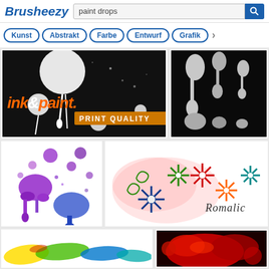Brusheezy — paint drops search page
Kunst
Abstrakt
Farbe
Entwurf
Grafik
[Figure (illustration): Black and white ink & paint splatter design with text 'ink&paint. PRINT QUALITY']
[Figure (illustration): White paint drips on black background]
[Figure (illustration): Purple paint splatter and bubble drops on white background]
[Figure (illustration): Colorful flower and swirl pattern with text 'Romalic' on pink watercolor background]
[Figure (illustration): Colorful watercolor paint brush strokes in yellow, green, blue]
[Figure (illustration): Red paint splatter on dark background]